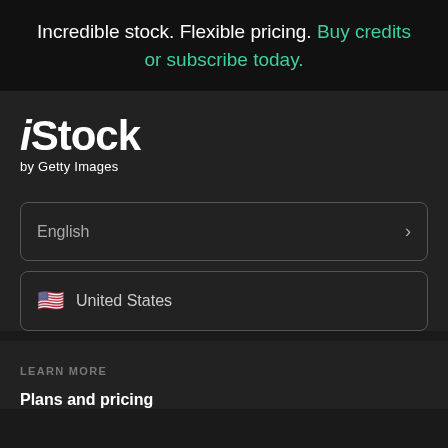Incredible stock. Flexible pricing. Buy credits or subscribe today.
[Figure (logo): iStock by Getty Images logo in white text on dark background]
English
United States
LEARN MORE
Plans and pricing